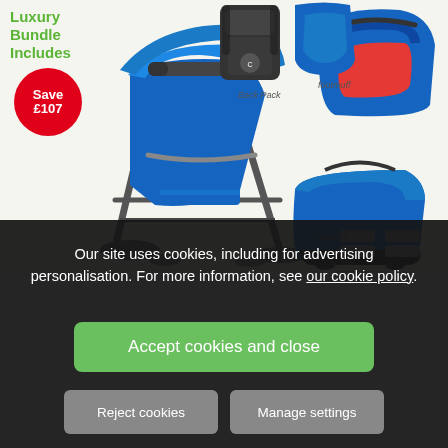[Figure (photo): Luxury baby stroller bundle product image showing a blue pram/pushchair, backpack, footmuff, carrycot, car seat, and car seat adaptors on a white background. Green text reads 'Luxury Bundle Includes'. Red circle badge reads 'Save £107'.]
Our site uses cookies, including for advertising personalisation. For more information, see our cookie policy.
Accept cookies and close
Reject cookies
Manage settings